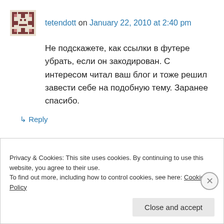tetendott on January 22, 2010 at 2:40 pm
Не подскажете, как ссылки в футере убрать, если он закодирован. С интересом читал ваш блог и тоже решил завести себе на подобную тему. Заранее спасибо.
↳ Reply
Pingback: Steampunk: Eine Zeit, die es so leider nie gegeben hat… – streitenberger.net
Privacy & Cookies: This site uses cookies. By continuing to use this website, you agree to their use.
To find out more, including how to control cookies, see here: Cookie Policy